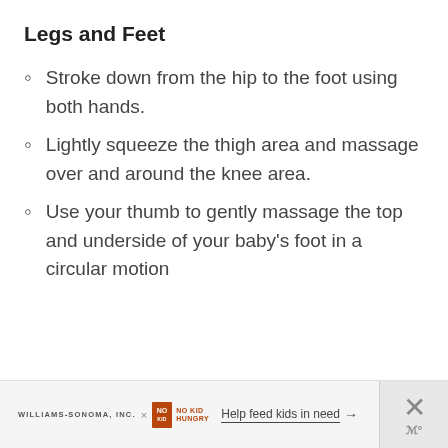Legs and Feet
Stroke down from the hip to the foot using both hands.
Lightly squeeze the thigh area and massage over and around the knee area.
Use your thumb to gently massage the top and underside of your baby's foot in a circular motion
WILLIAMS-SONOMA, INC. × NO KID HUNGRY   Help feed kids in need →